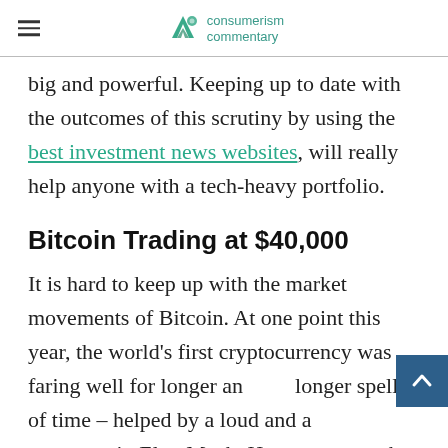consumerism commentary
big and powerful. Keeping up to date with the outcomes of this scrutiny by using the best investment news websites, will really help anyone with a tech-heavy portfolio.
Bitcoin Trading at $40,000
It is hard to keep up with the market movements of Bitcoin. At one point this year, the world’s first cryptocurrency was faring well for longer and longer spells of time – helped by a loud and a supporter in Elon Musk. However, over the last 10 days to 2 weeks, it has had a volatile period along